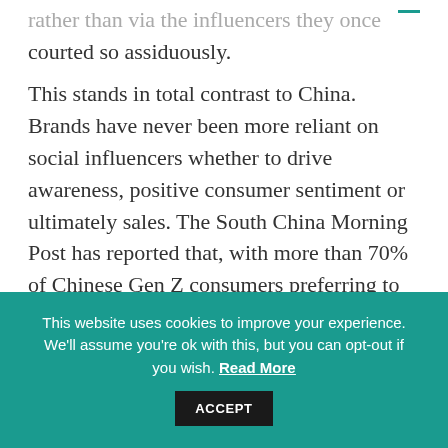rather than via the influencers they once courted so assiduously.
This stands in total contrast to China. Brands have never been more reliant on social influencers whether to drive awareness, positive consumer sentiment or ultimately sales. The South China Morning Post has reported that, with more than 70% of Chinese Gen Z consumers preferring to buy products directly via social media, the key opinion leaders (KOL) ecosystems are...
This website uses cookies to improve your experience. We'll assume you're ok with this, but you can opt-out if you wish. Read More ACCEPT